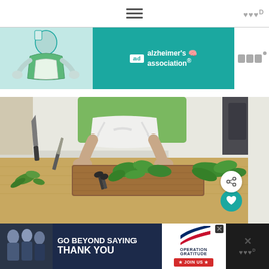Navigation menu (hamburger icon)
[Figure (advertisement): Alzheimer's Association banner ad with illustrated figure in green apron holding something, teal background, ad badge and association logo on right side]
[Figure (photo): Person in green shirt and white apron working with fresh herbs on a large wooden cutting board on a kitchen table, with kitchen knives and scissors visible]
[Figure (advertisement): Operation Gratitude banner: 'Go Beyond Saying Thank You' with JOIN US button, dark background with American flag swoosh graphic and people in foreground]